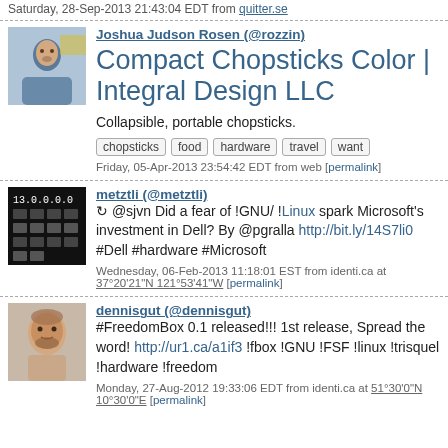Saturday, 28-Sep-2013 21:43:04 EDT from quitter.se
Joshua Judson Rosen (@rozzin)
Compact Chopsticks Color | Integral Design LLC
Collapsible, portable chopsticks.
chopsticks   food   hardware   travel   want
Friday, 05-Apr-2013 23:54:42 EDT from web [permalink]
metztli (@metztli)
↻ @sjvn Did a fear of !GNU/ !Linux spark Microsoft's investment in Dell? By @pgralla http://bit.ly/14S7li0 #Dell #hardware #Microsoft
Wednesday, 06-Feb-2013 11:18:01 EST from identi.ca at 37°20'21"N 121°53'41"W [permalink]
dennisgut (@dennisgut)
#FreedomBox 0.1 released!!! 1st release, Spread the word! http://ur1.ca/a1if3 !fbox !GNU !FSF !linux !trisquel !hardware !freedom
Monday, 27-Aug-2012 19:33:06 EDT from identi.ca at 51°30'0"N 10°30'0"E [permalink]